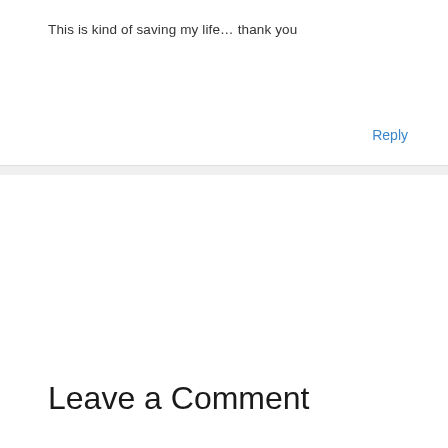This is kind of saving my life… thank you
Reply
Leave a Comment
Your email address will not be published.
Required fields are marked *
Type here..